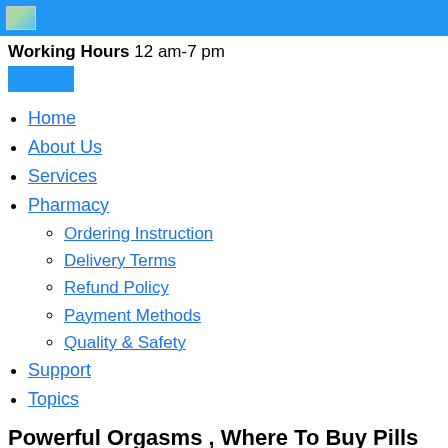Working Hours 12 am-7 pm
Home
About Us
Services
Pharmacy
Ordering Instruction
Delivery Terms
Refund Policy
Payment Methods
Quality & Safety
Support
Topics
Powerful Orgasms , Where To Buy Pills To Last Longer In Bed - Solashi
2022-03-23,How Rhino Pills Work. where to buy pills to last longer in bed And can ed be cured naturally Male Extra Customer Reviews.
But it is pointless to capture other areas separately Then it is where